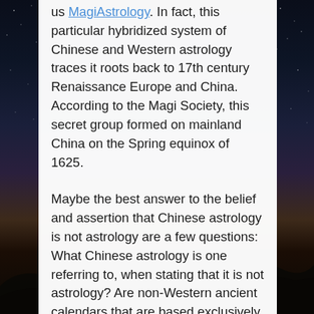us MagiAstrology. In fact, this particular hybridized system of Chinese and Western astrology traces it roots back to 17th century Renaissance Europe and China. According to the Magi Society, this secret group formed on mainland China on the Spring equinox of 1625.
Maybe the best answer to the belief and assertion that Chinese astrology is not astrology are a few questions: What Chinese astrology is one referring to, when stating that it is not astrology? Are non-Western ancient calendars that are based exclusively on the movements of the two most important and significant celestial bodies, the Sun and Moon any less astrological than our simple Westernferences that are considered to be?